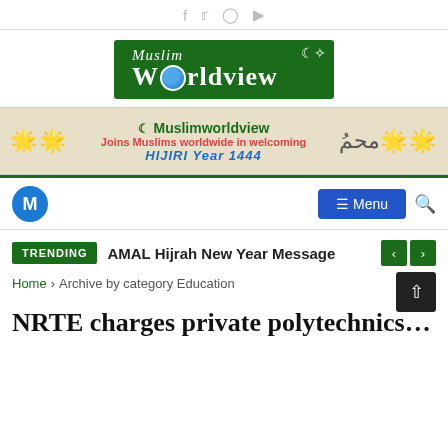Social icons: f  twitter  instagram  youtube
[Figure (logo): Muslim Worldview logo - green background with globe replacing O, crescent and star]
[Figure (infographic): Muslimworldview banner: Joins Muslims worldwide in welcoming HIJIRI Year 1444, with lanterns and Arabic calligraphy]
[Figure (screenshot): Navigation bar with M circle logo, Menu button, and search icon]
TRENDING  AMAL Hijrah New Year Message
Home > Archive by category Education
NRTE charges private polytechnics